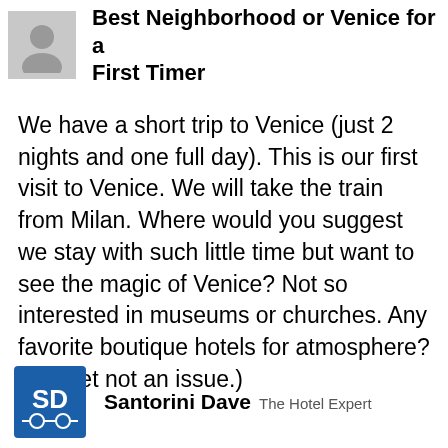Best Neighborhood or Venice for a First Timer
We have a short trip to Venice (just 2 nights and one full day). This is our first visit to Venice. We will take the train from Milan. Where would you suggest we stay with such little time but want to see the magic of Venice? Not so interested in museums or churches. Any favorite boutique hotels for atmosphere? (Budget not an issue.)
Santorini Dave  The Hotel Expert